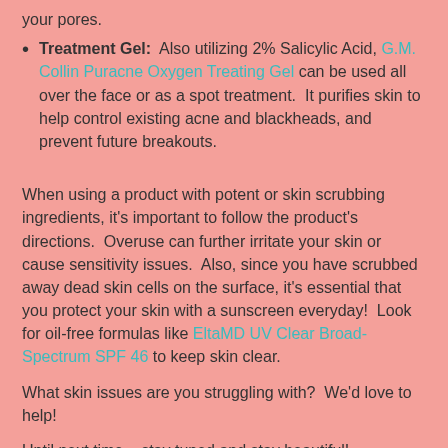your pores.
Treatment Gel: Also utilizing 2% Salicylic Acid, G.M. Collin Puracne Oxygen Treating Gel can be used all over the face or as a spot treatment. It purifies skin to help control existing acne and blackheads, and prevent future breakouts.
When using a product with potent or skin scrubbing ingredients, it's important to follow the product's directions. Overuse can further irritate your skin or cause sensitivity issues. Also, since you have scrubbed away dead skin cells on the surface, it's essential that you protect your skin with a sunscreen everyday! Look for oil-free formulas like EltaMD UV Clear Broad-Spectrum SPF 46 to keep skin clear.
What skin issues are you struggling with? We'd love to help!
Until next time... stay tuned and stay beautiful!